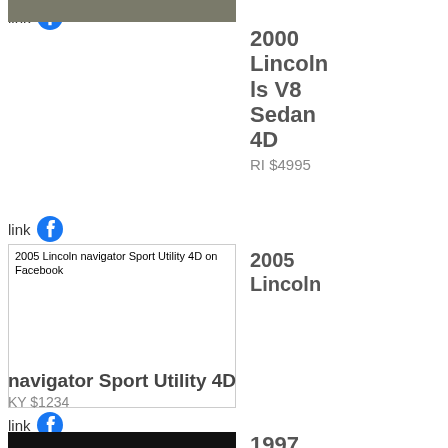link [Facebook icon]
[Figure (photo): White 2000 Lincoln ls V8 Sedan 4D car parked in a lot]
2000 Lincoln ls V8 Sedan 4D
RI $4995
link [Facebook icon]
[Figure (photo): Broken image placeholder for 2005 Lincoln navigator Sport Utility 4D on Facebook]
2005 Lincoln
navigator Sport Utility 4D
KY $1234
link [Facebook icon]
[Figure (photo): Mostly dark/black image of a 1997 Lincoln]
1997 Lincoln